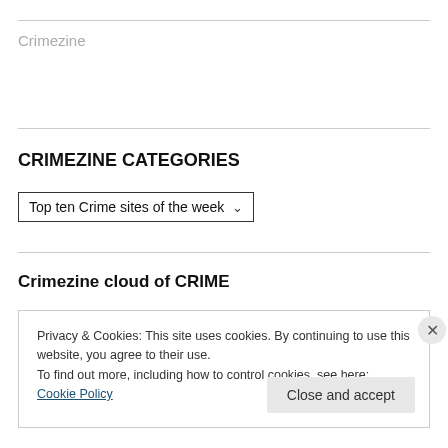Crimezine
CRIMEZINE CATEGORIES
Top ten Crime sites of the week ▾
Crimezine cloud of CRIME
Privacy & Cookies: This site uses cookies. By continuing to use this website, you agree to their use.
To find out more, including how to control cookies, see here: Cookie Policy
Close and accept